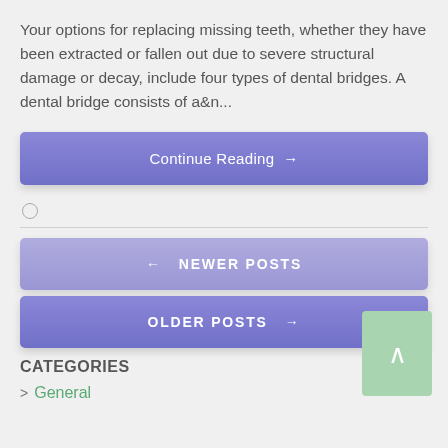Your options for replacing missing teeth, whether they have been extracted or fallen out due to severe structural damage or decay, include four types of dental bridges. A dental bridge consists of a&n...
Continue Reading →
[Figure (other): Small circular icon/gear symbol]
← NEWER POSTS
OLDER POSTS →
CATEGORIES
General